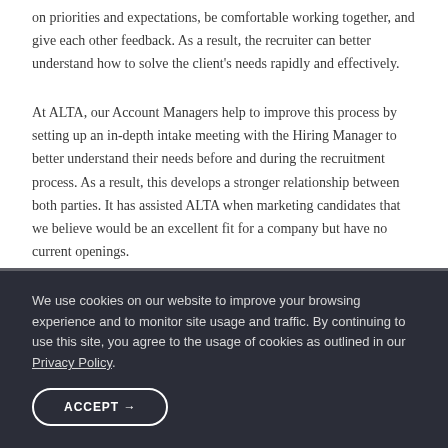on priorities and expectations, be comfortable working together, and give each other feedback. As a result, the recruiter can better understand how to solve the client's needs rapidly and effectively.
At ALTA, our Account Managers help to improve this process by setting up an in-depth intake meeting with the Hiring Manager to better understand their needs before and during the recruitment process. As a result, this develops a stronger relationship between both parties. It has assisted ALTA when marketing candidates that we believe would be an excellent fit for a company but have no current openings.
Dos for a Hiring Manager to Interview Candidates
We use cookies on our website to improve your browsing experience and to monitor site usage and traffic. By continuing to use this site, you agree to the usage of cookies as outlined in our Privacy Policy.